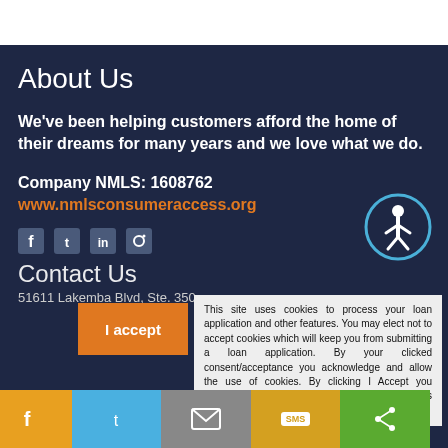About Us
We've been helping customers afford the home of their dreams for many years and we love what we do.
Company NMLS: 1608762
www.nmlsconsumeraccess.org
[Figure (illustration): Accessibility icon - circle with person figure, white on dark blue background]
[Figure (illustration): Social media icons: Facebook, Twitter, LinkedIn, Instagram]
Contact Us
51611 Lakemba Blvd, Ste. 350
This site uses cookies to process your loan application and other features. You may elect not to accept cookies which will keep you from submitting a loan application. By your clicked consent/acceptance you acknowledge and allow the use of cookies. By clicking I Accept you acknowledge you have read and understand 's Privacy Policy.
[Figure (illustration): Bottom share bar with Facebook, Twitter, Email, SMS, Share buttons]